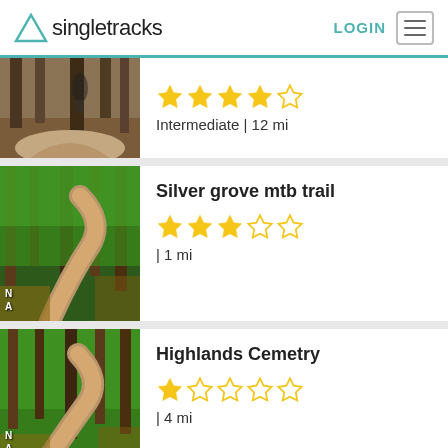Singletracks | LOGIN
Intermediate | 12 mi — 4 stars out of 5
Silver grove mtb trail
| 1 mi — 3 stars out of 5
Highlands Cemetry
| 4 mi — 1 star out of 5